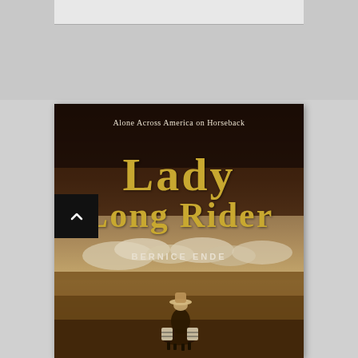[Figure (illustration): Book cover for 'Lady Long Rider' by Bernice Ende. Subtitle: 'Alone Across America on Horseback'. Sepia-toned cover showing a rider on horseback from behind, crossing a vast prairie landscape under a cloudy sky. Title in large gold letters, author name in white capital letters below.]